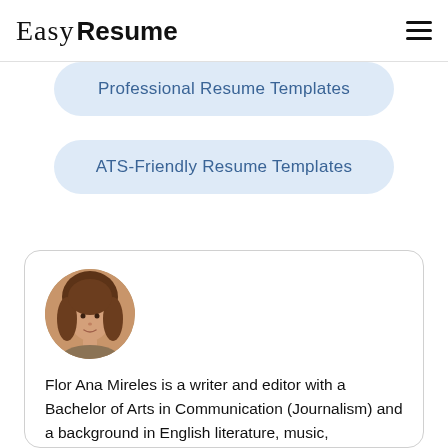Easy Resume
Professional Resume Templates
ATS-Friendly Resume Templates
[Figure (photo): Circular profile photo of Flor Ana Mireles, a young woman with brown hair]
Flor Ana Mireles is a writer and editor with a Bachelor of Arts in Communication (Journalism) and a background in English literature, music, marketing, and business. She is also the self-